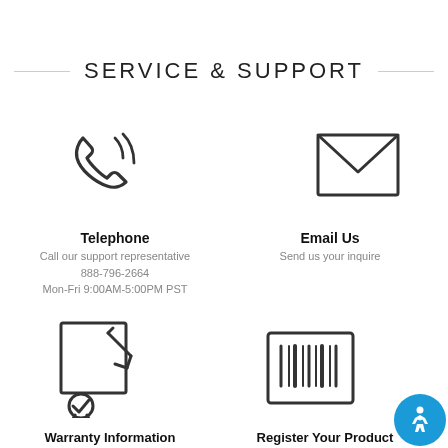SERVICE & SUPPORT
[Figure (illustration): Phone/telephone icon with signal waves]
Telephone
Call our support representative
888-796-2664
Mon-Fri 9:00AM-5:00PM PST
[Figure (illustration): Envelope/email icon]
Email Us
Send us your inquire
[Figure (illustration): Document/warranty icon with pen and ribbon badge]
Warranty Information
View Manufacturer
[Figure (illustration): Barcode/product registration icon]
Register Your Product
Get the most out of